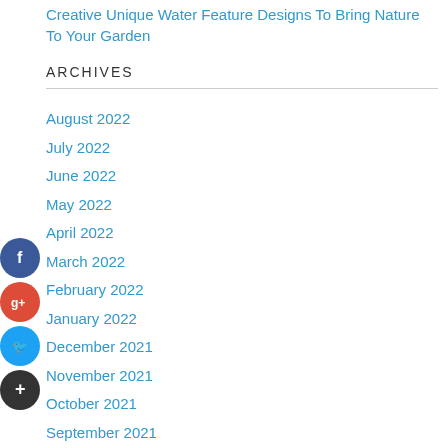Creative Unique Water Feature Designs To Bring Nature To Your Garden
ARCHIVES
August 2022
July 2022
June 2022
May 2022
April 2022
March 2022
February 2022
January 2022
December 2021
November 2021
October 2021
September 2021
August 2021